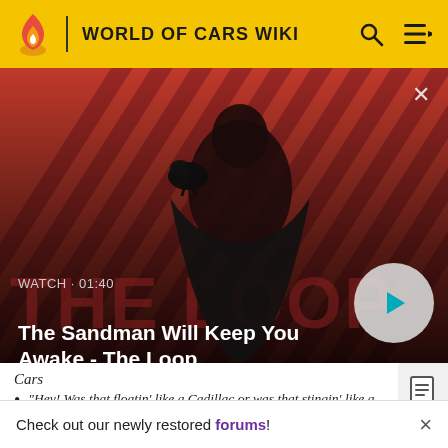WORLD OF CARS WIKI
[Figure (screenshot): Video thumbnail for 'The Sandman Will Keep You Awake - The Loop' with a dark-cloaked figure against a red diagonal-striped background. Shows WATCH · 01:40 label and a play button.]
The Sandman Will Keep You Awake - The Loop
Cars
"Hey! Was that floatin' like a Cadillac or was that stingin' like a Beamer? I'm confused. You drive like
Check out our newly restored forums!